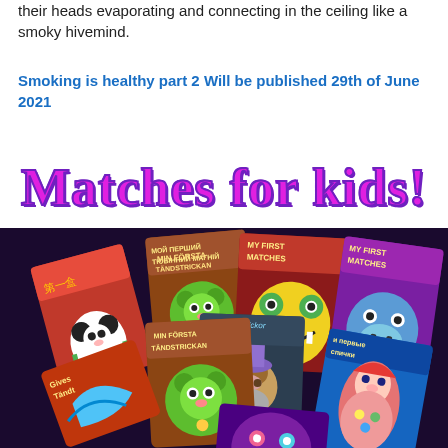their heads evaporating and connecting in the ceiling like a smoky hivemind.
Smoking is healthy part 2 Will be published 29th of June 2021
Matches for kids!
[Figure (illustration): A collection of colorful matchbox covers designed for children, featuring cartoon animals and characters including a panda, green bear, monsters, a hippo, a matryoshka doll, and others. Labels in multiple languages including Swedish 'Min Första Tändstrickan', Russian, and 'My First Matches'.]